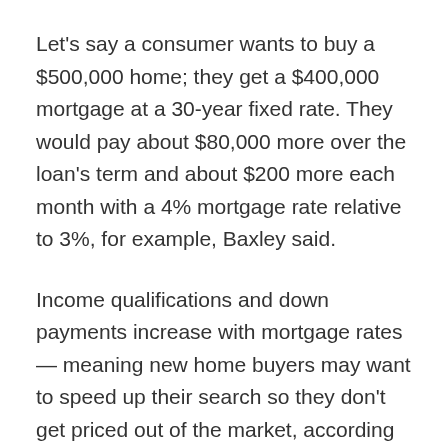Let's say a consumer wants to buy a $500,000 home; they get a $400,000 mortgage at a 30-year fixed rate. They would pay about $80,000 more over the loan's term and about $200 more each month with a 4% mortgage rate relative to 3%, for example, Baxley said.
Income qualifications and down payments increase with mortgage rates — meaning new home buyers may want to speed up their search so they don't get priced out of the market, according to Cathy Curtis, CFP, founder of Curtis Financial Planning in Oakland, California.
Consumers shopping for a new car should also expedite that process to avoid pricier car loans, Curtis said. It may also be a good time for investors with margin loans on their brokerage accounts to focus on paying down that